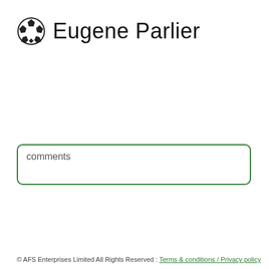⚽ Eugene Parlier
comments
© AFS Enterprises Limited All Rights Reserved : Terms & conditions / Privacy policy